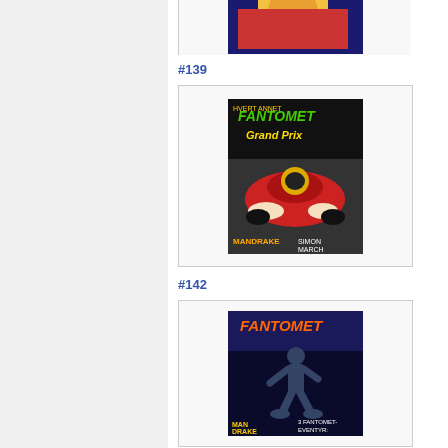[Figure (illustration): Partial view of top of a Fantomet comic book cover - top portion only visible, showing partial artwork]
#139
[Figure (illustration): Fantomet #139 comic book cover featuring Fantomet Grand Prix with a red race car and Mandrake, green title text on dark background]
#142
[Figure (illustration): Fantomet #142 comic book cover featuring Fantomet running figure in dark silhouette, Man Drake text, orange Fantomet title on dark background]